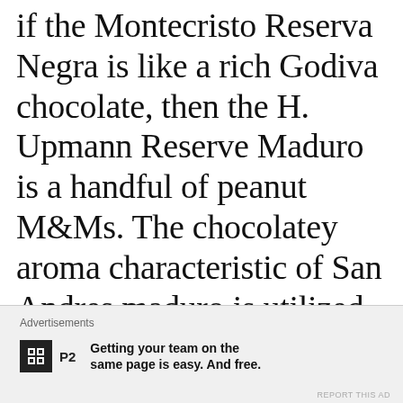if the Montecristo Reserva Negra is like a rich Godiva chocolate, then the H. Upmann Reserve Maduro is a handful of peanut M&Ms. The chocolatey aroma characteristic of San Andres maduro is utilized to great effect in both cases, but the Upmann is by far a milder
Advertisements
Getting your team on the same page is easy. And free.